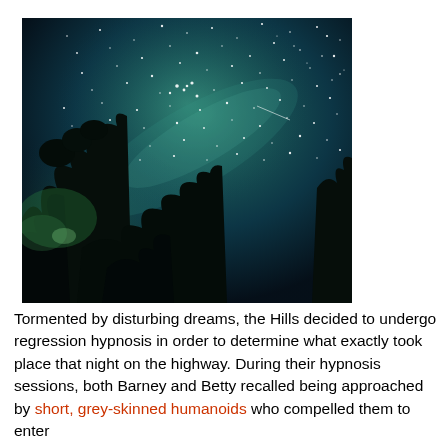[Figure (photo): Night sky photograph showing stars and Milky Way visible through silhouetted tree branches in the foreground. The sky has a green/teal luminous quality with many visible stars.]
Tormented by disturbing dreams, the Hills decided to undergo regression hypnosis in order to determine what exactly took place that night on the highway. During their hypnosis sessions, both Barney and Betty recalled being approached by short, grey-skinned humanoids who compelled them to enter